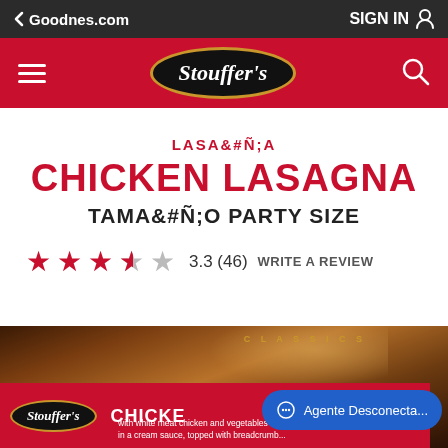Goodnes.com    SIGN IN
[Figure (logo): Stouffer's logo on red navigation bar with hamburger menu and search icon]
LASAÑA
CHICKEN LASAGNA
TAMAÑO PARTY SIZE
3.3 (46)   WRITE A REVIEW
[Figure (photo): Stouffer's Chicken Lasagna product box photo with Classics text, red banner showing Stouffer's logo and CHICK[EN LASAGNA] text, with white meat chicken and vegetables description. Chat overlay: Agente Desconecta...]